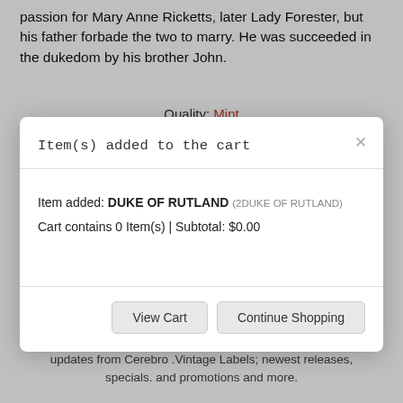passion for Mary Anne Ricketts, later Lady Forester, but his father forbade the two to marry. He was succeeded in the dukedom by his brother John.
Quality: Mint
[Figure (screenshot): Modal dialog box showing 'Item(s) added to the cart' with item details: DUKE OF RUTLAND (2DUKE OF RUTLAND), Cart contains 0 Item(s) | Subtotal: $0.00, and buttons 'View Cart' and 'Continue Shopping']
Enter your e-mail address to receive the .latest news and updates from Cerebro .Vintage Labels; newest releases, specials. and promotions and more.